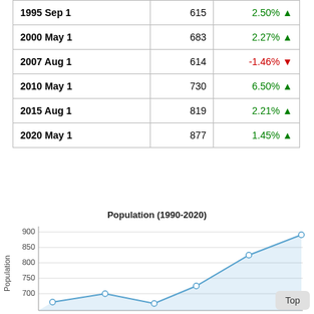| Date | Population | Change |
| --- | --- | --- |
| 1995 Sep 1 | 615 | 2.50% ▲ |
| 2000 May 1 | 683 | 2.27% ▲ |
| 2007 Aug 1 | 614 | -1.46% ▼ |
| 2010 May 1 | 730 | 6.50% ▲ |
| 2015 Aug 1 | 819 | 2.21% ▲ |
| 2020 May 1 | 877 | 1.45% ▲ |
[Figure (area-chart): Population (1990-2020)]